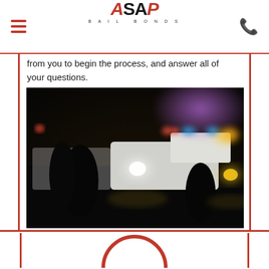ASAP BAIL BONDS
from you to begin the process, and answer all of your questions.
[Figure (photo): Night scene with police vehicles, flashing lights in red, blue, orange, yellow and purple colors. Dark background with blurred police car lights and silhouettes of people.]
[Figure (illustration): Partial red circle shape visible at bottom of page, appears to be part of a logo or graphic element.]